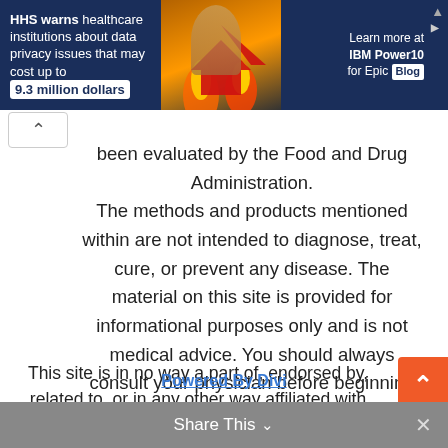[Figure (screenshot): Dark blue advertisement banner: 'HHS warns healthcare institutions about data privacy issues that may cost up to 9.3 million dollars' with a person and flames graphic in center, and 'Learn more at IBM Power10 for Epic Blog' on the right with an ad close button.]
been evaluated by the Food and Drug Administration. The methods and products mentioned within are not intended to diagnose, treat, cure, or prevent any disease. The material on this site is provided for informational purposes only and is not medical advice. You should always consult your physician before beginning any diet or exercise program.
This site is in no way a part of, endorsed by, related to, or in any other way affiliated with Facebook or Google. Facebook is a Trademark of Facebook inc.
Powered By Divi
Share This ∨  ✕